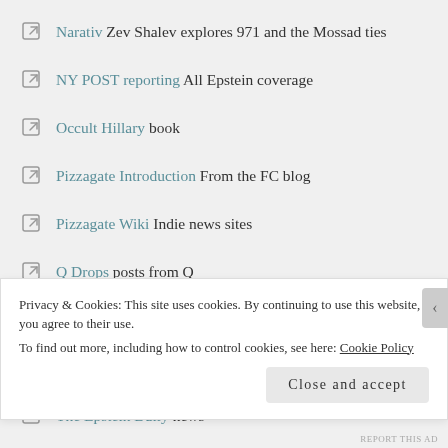Narativ Zev Shalev explores 971 and the Mossad ties
NY POST reporting All Epstein coverage
Occult Hillary book
Pizzagate Introduction From the FC blog
Pizzagate Wiki Indie news sites
Q Drops posts from Q
Revolting Subject Can't Stand The Reign
Storage Unit Epstein News
The Epstein Daily news
The Pedo-Gate pizzagate news
Privacy & Cookies: This site uses cookies. By continuing to use this website, you agree to their use.
To find out more, including how to control cookies, see here: Cookie Policy
Close and accept